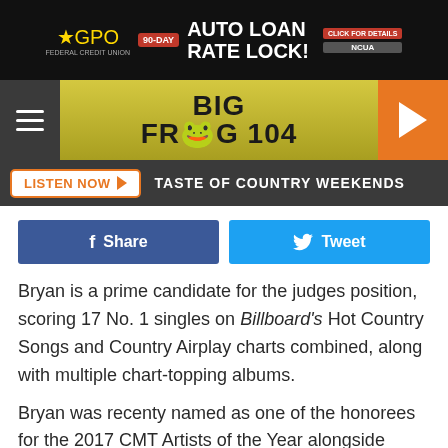[Figure (screenshot): GPO Federal Credit Union auto loan rate lock advertisement banner at top]
[Figure (logo): Big Frog 104 radio station logo with hamburger menu and play button]
LISTEN NOW ▶  TASTE OF COUNTRY WEEKENDS
[Figure (infographic): Facebook Share and Twitter Tweet social sharing buttons]
Bryan is a prime candidate for the judges position, scoring 17 No. 1 singles on Billboard's Hot Country Songs and Country Airplay charts combined, along with multiple chart-topping albums.
Bryan was recenty named as one of the honorees for the 2017 CMT Artists of the Year alongside Jason Aldean,
[Figure (screenshot): GPO Federal Credit Union auto loan rate lock advertisement banner at bottom]